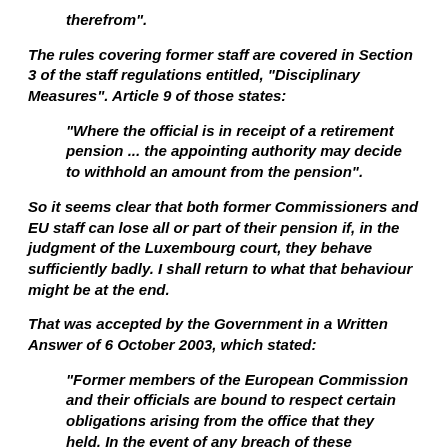therefrom".
The rules covering former staff are covered in Section 3 of the staff regulations entitled, “Disciplinary Measures”. Article 9 of those states:
“Where the official is in receipt of a retirement pension ... the appointing authority may decide to withhold an amount from the pension”.
So it seems clear that both former Commissioners and EU staff can lose all or part of their pension if, in the judgment of the Luxembourg court, they behave sufficiently badly. I shall return to what that behaviour might be at the end.
That was accepted by the Government in a Written Answer of 6 October 2003, which stated:
“Former members of the European Commission and their officials are bound to respect certain obligations arising from the office that they held. In the event of any breach of these obligations